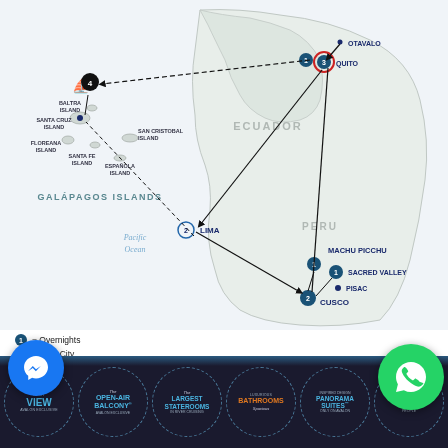[Figure (map): Travel route map showing Ecuador, Peru, and Galapagos Islands. Route connects: Otavalo, Quito (1 night, 3 nights marked, end city), Baltra Island (4 nights, cruise ship icon), Santa Cruz Island, Floreana Island, Santa Fe Island, San Cristobal Island, Española Island (Galapagos Islands group), Lima (2 nights), Machu Picchu (1 night), Sacred Valley (1 night), Pisac, Cusco (2 nights). Arrows show travel direction between cities. Pacific Ocean labeled. Ecuador and Peru labeled.]
= Overnights
= Start City
= End City
[Figure (infographic): Dark bottom bar with circular badges: Best View (Avalon exclusive), The Open-Air Balcony (Avalon exclusive), The Largest Staterooms in River Cruising, Luxurious Bathrooms (Spacious), Inspired Design Panorama Suites (Only on Avalon), Space for People. Blue messenger button and green WhatsApp button overlaid.]